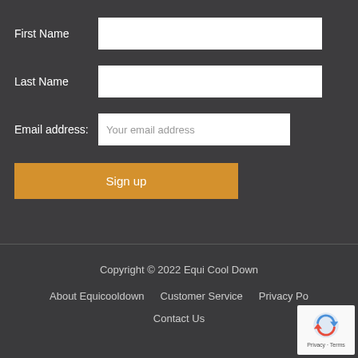First Name
Last Name
Email address:
Your email address
Sign up
Copyright © 2022 Equi Cool Down
About Equicooldown   Customer Service   Privacy Po...
Contact Us